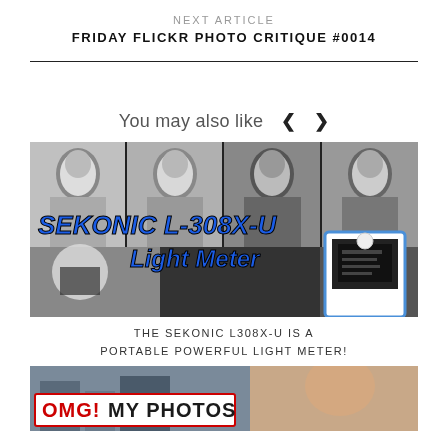NEXT ARTICLE
FRIDAY FLICKR PHOTO CRITIQUE #0014
You may also like
[Figure (photo): Composite image showing four black and white portrait photos of a bald man across the top, overlaid with bold blue text 'SEKONIC L-308X-U Light Meter' and an image of the light meter device on the right, plus a smaller image at the bottom left of a photographer]
THE SEKONIC L308X-U IS A PORTABLE POWERFUL LIGHT METER!
[Figure (photo): Partial image showing red and white text 'OMG! MY PHOTOS' overlaid on a photo of a building and a person's face]